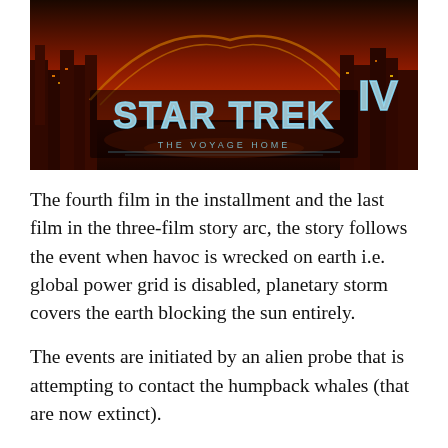[Figure (photo): Movie poster for Star Trek IV: The Voyage Home, featuring a red/orange city skyline at night with the Star Trek IV logo in metallic blue lettering in the center.]
The fourth film in the installment and the last film in the three-film story arc, the story follows the event when havoc is wrecked on earth i.e. global power grid is disabled, planetary storm covers the earth blocking the sun entirely.
The events are initiated by an alien probe that is attempting to contact the humpback whales (that are now extinct).
The crew travels back in time to find whales and